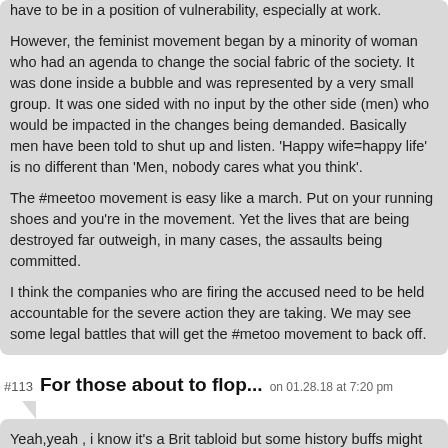have to be in a position of vulnerability, especially at work.

However, the feminist movement began by a minority of woman who had an agenda to change the social fabric of the society. It was done inside a bubble and was represented by a very small group. It was one sided with no input by the other side (men) who would be impacted in the changes being demanded. Basically men have been told to shut up and listen. 'Happy wife=happy life' is no different than 'Men, nobody cares what you think'.

The #meetoo movement is easy like a march. Put on your running shoes and you're in the movement. Yet the lives that are being destroyed far outweigh, in many cases, the assaults being committed.

I think the companies who are firing the accused need to be held accountable for the severe action they are taking. We may see some legal battles that will get the #metoo movement to back off.
#113  For those about to flop...  on 01.28.18 at 7:20 pm
Yeah,yeah , i know it's a Brit tabloid but some history buffs might wanna check out this article.